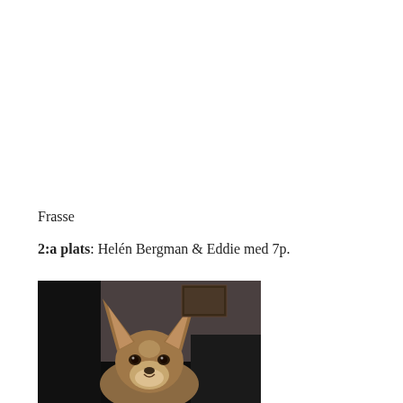Frasse
2:a plats: Helén Bergman & Eddie med 7p.
[Figure (photo): A dog with large pointed ears, brown and white coloring, looking at the camera in a dark indoor setting.]